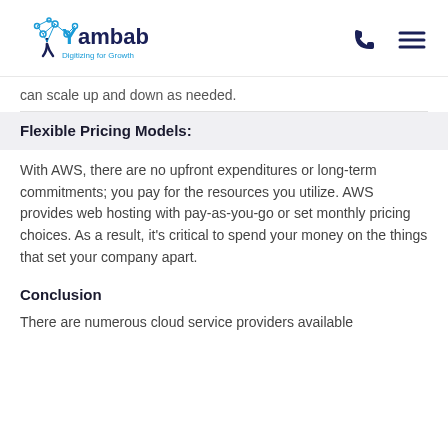Yambab — Digitizing for Growth
can scale up and down as needed.
Flexible Pricing Models:
With AWS, there are no upfront expenditures or long-term commitments; you pay for the resources you utilize. AWS provides web hosting with pay-as-you-go or set monthly pricing choices. As a result, it's critical to spend your money on the things that set your company apart.
Conclusion
There are numerous cloud service providers available